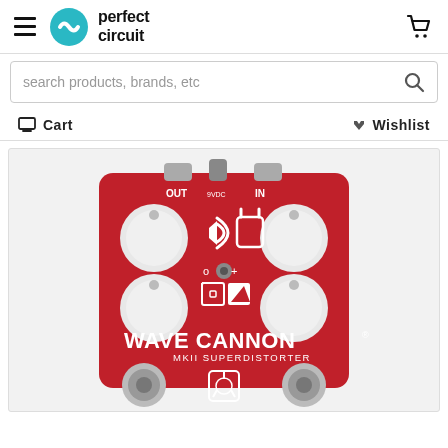Perfect Circuit — Navigation header with hamburger menu, logo, and cart icon
search products, brands, etc
Cart   Wishlist
[Figure (photo): Red guitar effects pedal labeled 'WAVE CANNON MKII SUPERDISTORTER' with four white knobs, two footswitches, and various control icons on the face. Product photo on Perfect Circuit e-commerce website.]